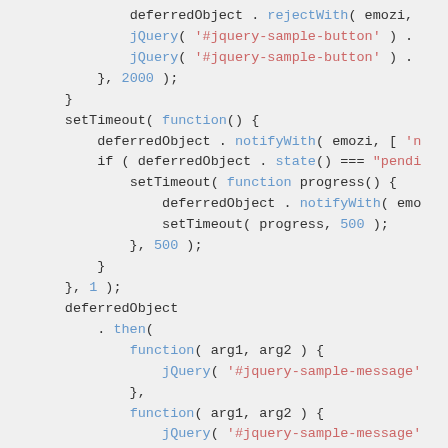Code snippet showing JavaScript deferred object and jQuery usage with setTimeout, notifyWith, state, then callbacks